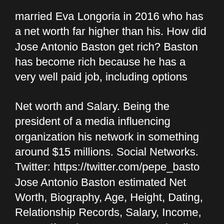married Eva Longoria in 2016 who has a net worth far higher than his. How did Jose Antonio Baston get rich? Baston has become rich because he has a very well paid job, including options
Net worth and Salary. Being the president of a media influencing organization his network in something around $15 millions. Social Networks. Twitter: https://twitter.com/pepe_basto Jose Antonio Baston estimated Net Worth, Biography, Age, Height, Dating, Relationship Records, Salary, Income, Cars, Lifestyles & many more details have been updated below. Prior to her marriage to Baston, Longoria was married to Tony Parker. Let's check, How Rich is Jose Antonio Baston in 2020-2021? Scroll below and check more details information about Current [ Jose Antonio Baston: Net worth and Salary. The bold and Talented man has been able to gain the